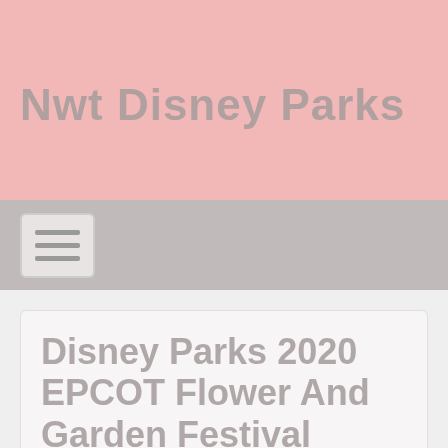Nwt Disney Parks
[Figure (other): Hamburger menu navigation button with three horizontal lines]
Disney Parks 2020 EPCOT Flower And Garden Festival Orange